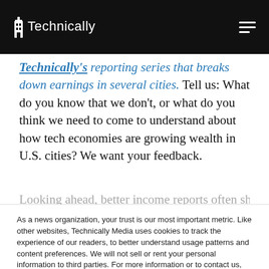Technically
Technically's reporting series that breaks down earnings in several cities. Tell us: What do you know that we don't, or what do you think we need to come to understand about how tech economies are growing wealth in U.S. cities? We want your feedback.
As a news organization, your trust is our most important metric. Like other websites, Technically Media uses cookies to track the experience of our readers, to better understand usage patterns and content preferences. We will not sell or rent your personal information to third parties. For more information or to contact us, read our entire Ethics & Privacy Policy.
Close